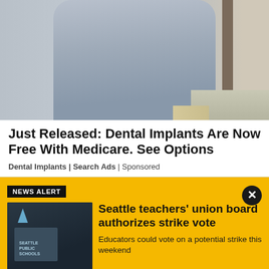[Figure (photo): Woman in a grey fitted t-shirt standing outdoors near a fence and a tree on a sidewalk]
Just Released: Dental Implants Are Now Free With Medicare. See Options
Dental Implants | Search Ads | Sponsored
NEWS ALERT
[Figure (photo): Seattle Public Schools sign on a building]
Seattle teachers' union board authorizes strike vote
Educators could vote on a potential strike this weekend